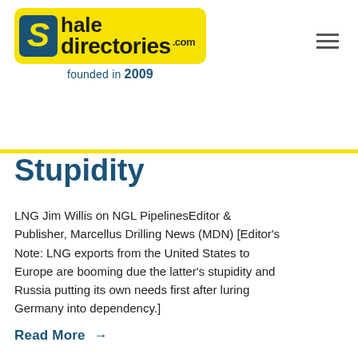[Figure (logo): Shale Directories .com logo on yellow rounded rectangle background with blue S icon, founded in 2009]
Stupidity
LNG Jim Willis on NGL PipelinesEditor & Publisher, Marcellus Drilling News (MDN) [Editor's Note: LNG exports from the United States to Europe are booming due the latter's stupidity and Russia putting its own needs first after luring Germany into dependency.]
Read More →